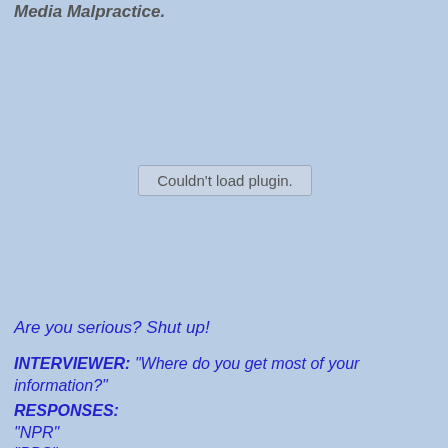Media Malpractice.
[Figure (other): Couldn't load plugin. placeholder box for embedded video or media plugin]
Are you serious? Shut up!
INTERVIEWER: "Where do you get most of your information?"
RESPONSES:
"NPR"
"PBS"
"CNN"
"Bill Maher is a great one"